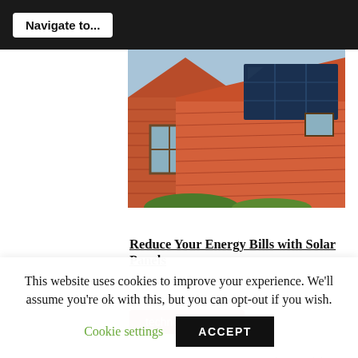Navigate to...
[Figure (photo): A brick house with solar panels installed on the red tiled roof, with a triangular gable and wooden window visible]
Reduce Your Energy Bills with Solar Panels
Solar Saver Program
technology news
Previous Article
This website uses cookies to improve your experience. We'll assume you're ok with this, but you can opt-out if you wish.
Cookie settings
ACCEPT